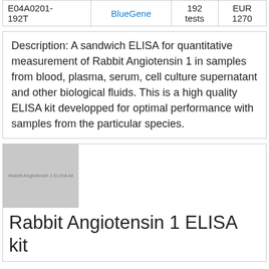| Product | Supplier | Quantity | Price |
| --- | --- | --- | --- |
| E04A0201-192T | BlueGene | 192 tests | EUR 1270 |
Description: A sandwich ELISA for quantitative measurement of Rabbit Angiotensin 1 in samples from blood, plasma, serum, cell culture supernatant and other biological fluids. This is a high quality ELISA kit developped for optimal performance with samples from the particular species.
[Figure (photo): Product image placeholder for Rabbit Angiotensin 1 ELISA kit, light grey box with small text label]
Rabbit Angiotensin 1 ELISA kit